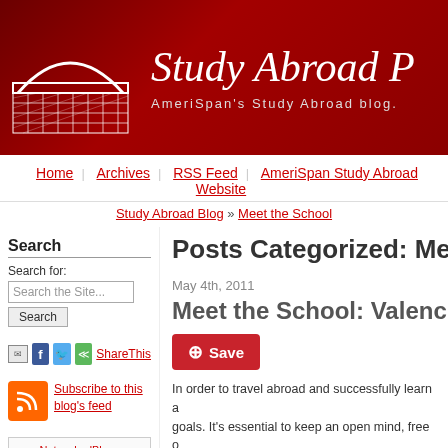Study Abroad P — AmeriSpan's Study Abroad blog.
Home | Archives | RSS Feed | AmeriSpan Study Abroad Website
Study Abroad Blog » Meet the School
Search
Search for:
Posts Categorized: Meet the
May 4th, 2011
Meet the School: Valencia's
Save
In order to travel abroad and successfully learn a goals. It's essential to keep an open mind, free o cultural diversity, and, of course, to hold certain i
Subscribe to this blog's feed
[Figure (other): NetworkedBlogs widget with Follow this blog button]